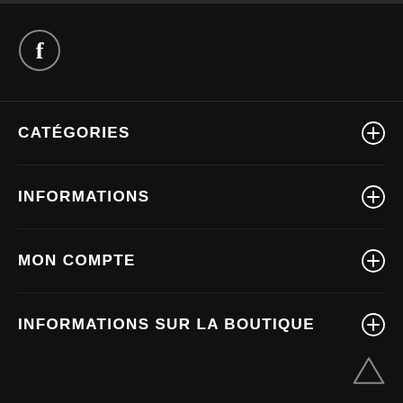[Figure (logo): Facebook icon — circle with 'f' letter inside]
CATÉGORIES
INFORMATIONS
MON COMPTE
INFORMATIONS SUR LA BOUTIQUE
[Figure (other): Back to top arrow (upward triangle)]